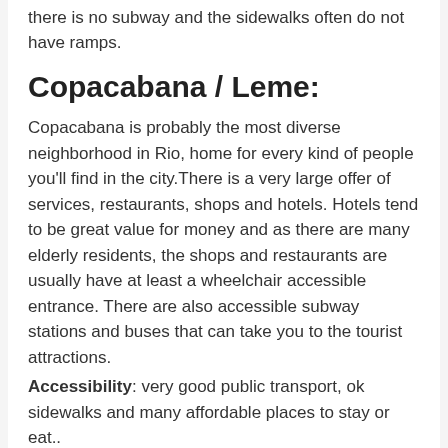there is no subway and the sidewalks often do not have ramps.
Copacabana / Leme:
Copacabana is probably the most diverse neighborhood in Rio, home for every kind of people you'll find in the city. There is a very large offer of services, restaurants, shops and hotels. Hotels tend to be great value for money and as there are many elderly residents, the shops and restaurants are usually have at least a wheelchair accessible entrance. There are also accessible subway stations and buses that can take you to the tourist attractions.
Accessibility: very good public transport, ok sidewalks and many affordable places to stay or eat..
Botafogo / Flamengo:
Although both districts do not have good beaches for sun